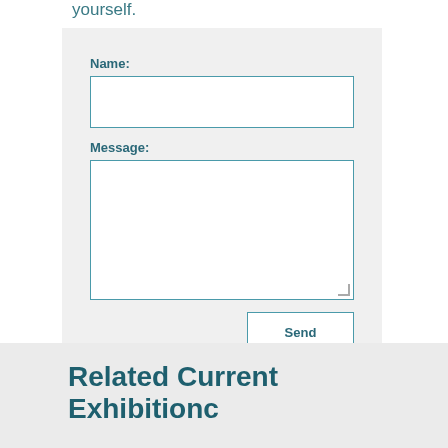yourself.
[Figure (other): A contact form with Name field (text input), Message field (textarea), and a Send button, on a light grey background.]
Related Current Exhibitions